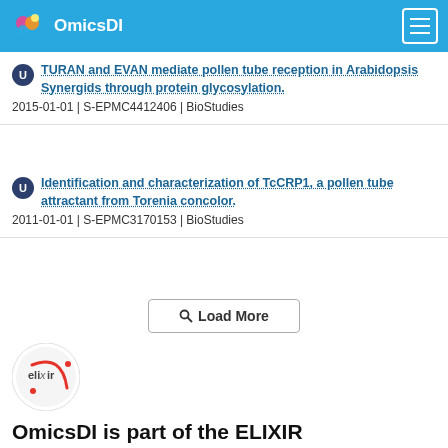OmicsDI
TURAN and EVAN mediate pollen tube reception in Arabidopsis Synergids through protein glycosylation.
2015-01-01 | S-EPMC4412406 | BioStudies
Identification and characterization of TcCRP1, a pollen tube attractant from Torenia concolor.
2011-01-01 | S-EPMC3170153 | BioStudies
[Figure (other): Load More button with search icon]
[Figure (logo): ELIXIR logo — circular white badge with elixir text and red swoosh]
OmicsDI is part of the ELIXIR infrastructure
OmicsDI is an Elixir interoperability service. Learn more ›